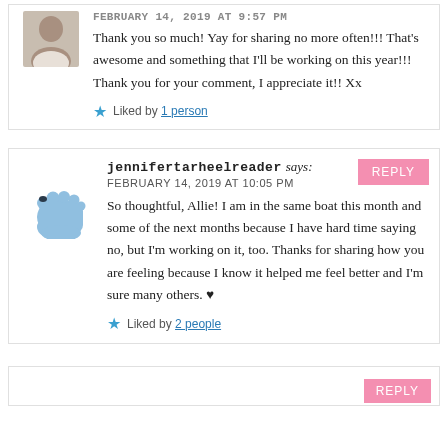Thank you so much! Yay for sharing no more often!!! That's awesome and something that I'll be working on this year!!! Thank you for your comment, I appreciate it!! Xx
Liked by 1 person
jennifertarheelreader says:
FEBRUARY 14, 2019 AT 10:05 PM
So thoughtful, Allie! I am in the same boat this month and some of the next months because I have hard time saying no, but I'm working on it, too. Thanks for sharing how you are feeling because I know it helped me feel better and I'm sure many others. ♥
Liked by 2 people